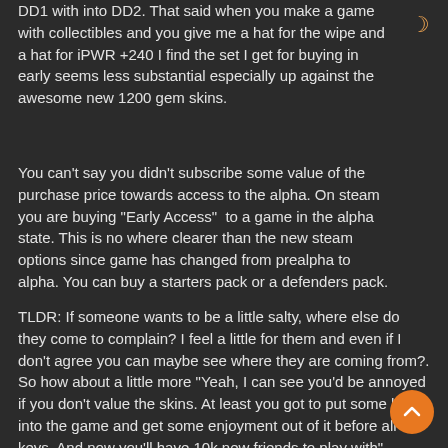DD1 with into DD2. That said when you make a game with collectibles and you give me a hat for the wipe and a hat for iPWR +240 I find the set I get for buying in early seems less substantial especially up against the awesome new 1200 gem skins.
You can't say you didn't subscribe some value of the purchase price towards access to the alpha. On steam you are buying "Early Access" to a game in the alpha state. This is no where clearer than the new steam options since game has changed from prealpha to alpha. You can buy a starters pack or a defenders pack.
TLDR: If someone wants to be a little salty, where else do they come to complain? I feel a little for them and even if I don't agree you can maybe see where they are coming from?. So how about a little more "Yeah, I can see you'd be annoyed if you don't value the skins. At least you got to put some hours into the game and get some enjoyment out of it before all the keys. And now you'll have 10k new friends to play with"